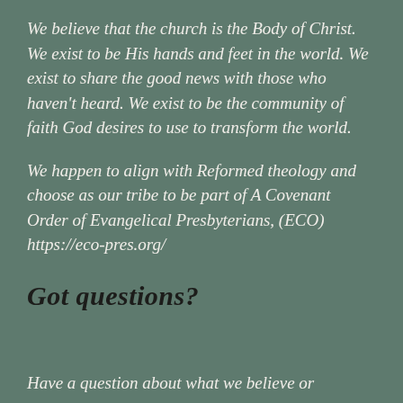We believe that the church is the Body of Christ. We exist to be His hands and feet in the world. We exist to share the good news with those who haven't heard. We exist to be the community of faith God desires to use to transform the world.
We happen to align with Reformed theology and choose as our tribe to be part of A Covenant Order of Evangelical Presbyterians, (ECO) https://eco-pres.org/
Got questions?
Have a question about what we believe or